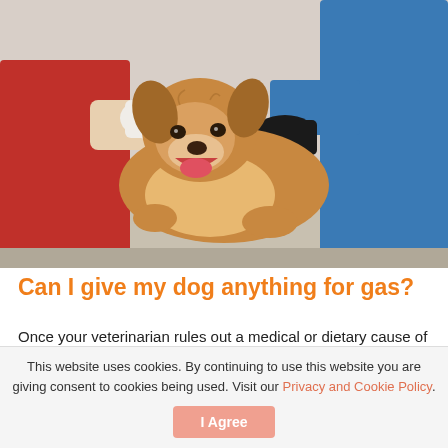[Figure (photo): A corgi dog being examined by two veterinary professionals. One person in red wearing white gloves holds the dog's snout, while another in blue with black gloves holds the dog from the other side. The dog appears to be on an examination table.]
Can I give my dog anything for gas?
Once your veterinarian rules out a medical or dietary cause of your pup’s excess gas, they may recommend a medication like simethicone or an antacid to help reduce your dog’s farts, says Dr. Ochoa. Supplementing your dog’s diet with probiotic powders may also help reduce farting.
This website uses cookies. By continuing to use this website you are giving consent to cookies being used. Visit our Privacy and Cookie Policy.